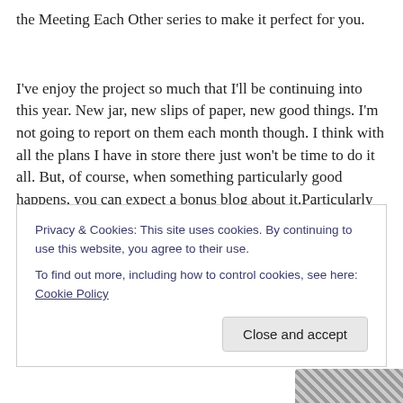the Meeting Each Other series to make it perfect for you.
I've enjoy the project so much that I'll be continuing into this year. New jar, new slips of paper, new good things. I'm not going to report on them each month though. I think with all the plans I have in store there just won't be time to do it all. But, of course, when something particularly good happens, you can expect a bonus blog about it.Particularly
Privacy & Cookies: This site uses cookies. By continuing to use this website, you agree to their use.
To find out more, including how to control cookies, see here: Cookie Policy
Close and accept